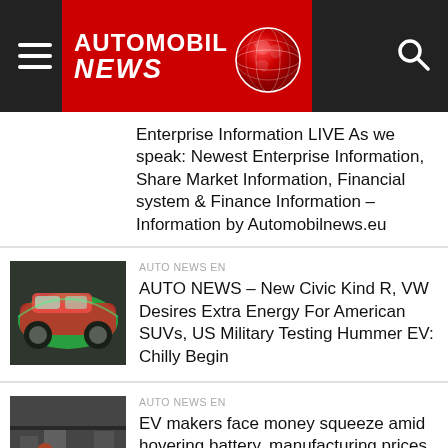AUTOMOBIL NEWS
Enterprise Information LIVE As we speak: Newest Enterprise Information, Share Market Information, Financial system & Finance Information – Information by Automobilnews.eu
AUTO NEWS EN
AUTO NEWS – New Civic Kind R, VW Desires Extra Energy For American SUVs, US Military Testing Hummer EV: Chilly Begin
AUTO NEWS EN
EV makers face money squeeze amid hovering battery, manufacturing prices – Information by Automobilnews.eu
AUTO NEWS EN
This Distant Mine May Foretell the Way